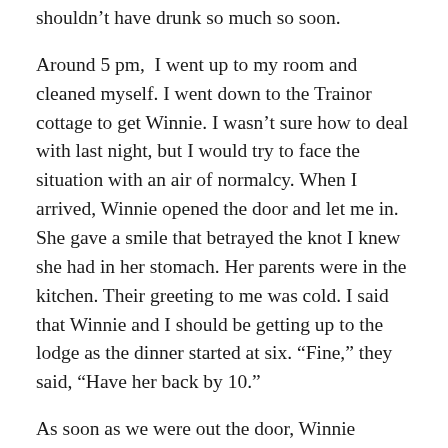shouldn't have drunk so much so soon.
Around 5 pm,  I went up to my room and cleaned myself. I went down to the Trainor cottage to get Winnie. I wasn't sure how to deal with last night, but I would try to face the situation with an air of normalcy. When I arrived, Winnie opened the door and let me in. She gave a smile that betrayed the knot I knew she had in her stomach. Her parents were in the kitchen. Their greeting to me was cold. I said that Winnie and I should be getting up to the lodge as the dinner started at six. “Fine,” they said, “Have her back by 10.”
As soon as we were out the door, Winnie